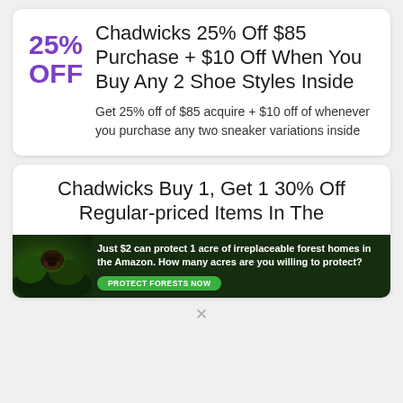Chadwicks 25% Off $85 Purchase + $10 Off When You Buy Any 2 Shoe Styles Inside
25% OFF
Get 25% off of $85 acquire + $10 off of whenever you purchase any two sneaker variations inside
Chadwicks Buy 1, Get 1 30% Off Regular-priced Items In The
[Figure (infographic): Dark green forest-themed advertisement banner with an animal (gorilla) on the left side. Text reads: 'Just $2 can protect 1 acre of irreplaceable forest homes in the Amazon. How many acres are you willing to protect?' with a green 'PROTECT FORESTS NOW' button.]